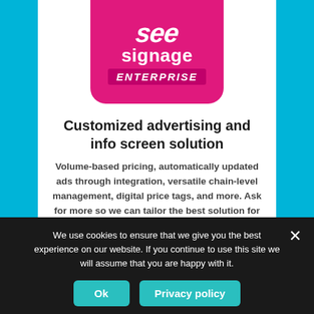[Figure (logo): See Signage Enterprise logo: pink/magenta rounded rectangle with stylized 'see' in italic white, 'signage' in white bold, and 'ENTERPRISE' in italic white on darker pink banner]
Customized advertising and info screen solution
Volume-based pricing, automatically updated ads through integration, versatile chain-level management, digital price tags, and more. Ask for more so we can tailor the best solution for your business!
We use cookies to ensure that we give you the best experience on our website. If you continue to use this site we will assume that you are happy with it.